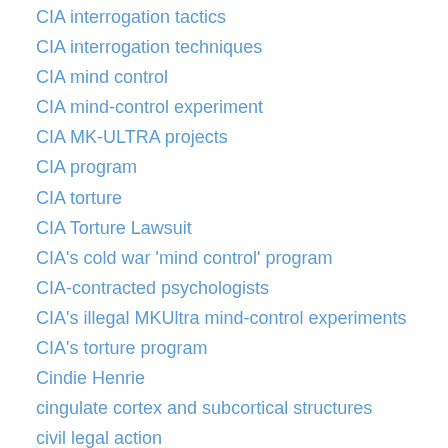CIA interrogation tactics
CIA interrogation techniques
CIA mind control
CIA mind-control experiment
CIA MK-ULTRA projects
CIA program
CIA torture
CIA Torture Lawsuit
CIA's cold war 'mind control' program
CIA-contracted psychologists
CIA's illegal MKUltra mind-control experiments
CIA's torture program
Cindie Henrie
cingulate cortex and subcortical structures
civil legal action
CKLN-FM
CKLN-FM Mind Control Series
Clare Barrie
Clare Bronfman
Clarence Thomas